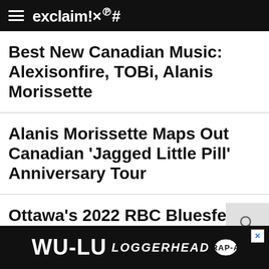exclaim!×℗#
Best New Canadian Music: Alexisonfire, TOBi, Alanis Morissette
Alanis Morissette Maps Out Canadian 'Jagged Little Pill' Anniversary Tour
Ottawa's 2022 RBC Bluesfest Gets Rage Against the Ma... Al...
[Figure (other): WU-LU LOGGERHEAD advertisement banner at the bottom of the page]